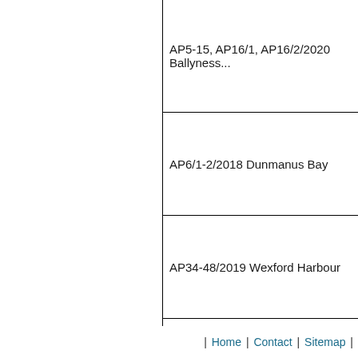| AP5-15, AP16/1, AP16/2/2020 Ballyness... |
| AP6/1-2/2018 Dunmanus Bay |
| AP34-48/2019 Wexford Harbour |
| AP2/1-4/2021 Ballinskelligs Bay & AP3/1... Ballinskelligs Bay |
| Home | Contact | Sitemap |